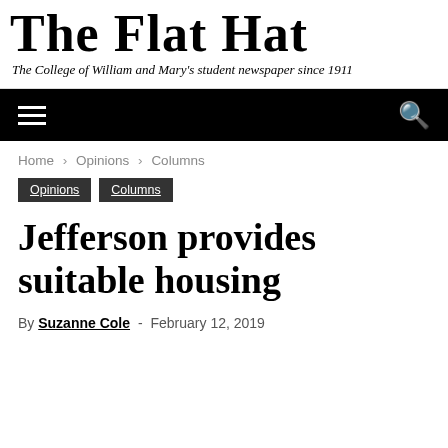The Flat Hat — The College of William and Mary's student newspaper since 1911
Home › Opinions › Columns
Opinions   Columns
Jefferson provides suitable housing
By Suzanne Cole - February 12, 2019